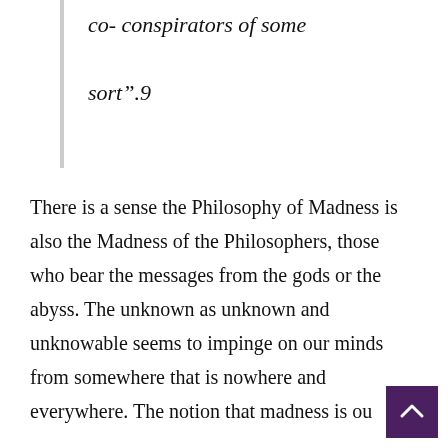co- conspirators of some sort".9
There is a sense the Philosophy of Madness is also the Madness of the Philosophers, those who bear the messages from the gods or the abyss. The unknown as unknown and unknowable seems to impinge on our minds from somewhere that is nowhere and everywhere. The notion that madness is ou...